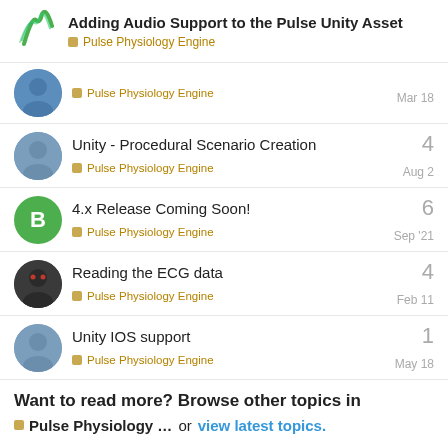Adding Audio Support to the Pulse Unity Asset | Pulse Physiology Engine
Pulse Physiology Engine · Mar 18
Unity - Procedural Scenario Creation · 4 replies · Pulse Physiology Engine · Aug 2
4.x Release Coming Soon! · 6 replies · Pulse Physiology Engine · Sep '21
Reading the ECG data · 4 replies · Pulse Physiology Engine · Feb 11
Unity IOS support · 1 reply · Pulse Physiology Engine · May 18
Want to read more? Browse other topics in Pulse Physiology ... or view latest topics.
Privacy Notice